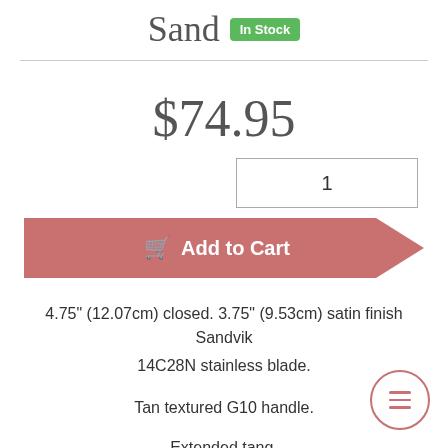Sand  In Stock
$74.95
1
Add to Cart
4.75" (12.07cm) closed. 3.75" (9.53cm) satin finish Sandvik 14C28N stainless blade.
Tan textured G10 handle.
Extended tang.
Thumb stud.